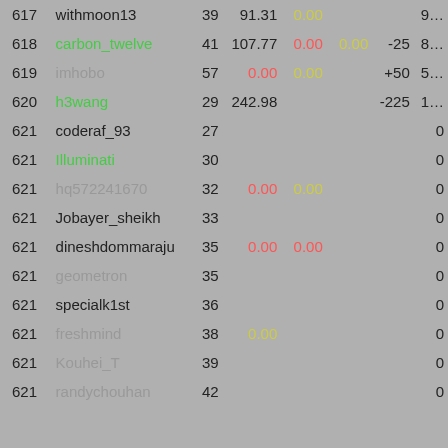| rank | name | col1 | col2 | col3 | col4 | col5 | col6 |
| --- | --- | --- | --- | --- | --- | --- | --- |
| 617 | withmoon13 | 39 | 91.31 | 0.00 |  |  | 9… |
| 618 | carbon_twelve | 41 | 107.77 | 0.00 | 0.00 | -25 | 8… |
| 619 | imhobo | 57 | 0.00 | 0.00 |  | +50 | 5… |
| 620 | h3wang | 29 | 242.98 |  |  | -225 | 1… |
| 621 | coderaf_93 | 27 |  |  |  |  | 0 |
| 621 | Illuminati | 30 |  |  |  |  | 0 |
| 621 | hq572241670 | 32 | 0.00 | 0.00 |  |  | 0 |
| 621 | Jobayer_sheikh | 33 |  |  |  |  | 0 |
| 621 | dineshdommaraju | 35 | 0.00 | 0.00 |  |  | 0 |
| 621 | geometron | 35 |  |  |  |  | 0 |
| 621 | specialk1st | 36 |  |  |  |  | 0 |
| 621 | freshmind | 38 | 0.00 |  |  |  | 0 |
| 621 | Kouhei_T | 39 |  |  |  |  | 0 |
| 621 | randychouhan | 42 |  |  |  |  | 0 |